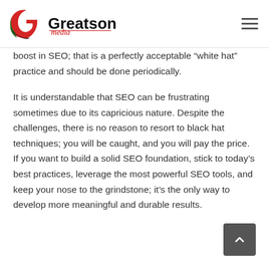Greatson Media
boost in SEO; that is a perfectly acceptable “white hat” practice and should be done periodically.
It is understandable that SEO can be frustrating sometimes due to its capricious nature. Despite the challenges, there is no reason to resort to black hat techniques; you will be caught, and you will pay the price. If you want to build a solid SEO foundation, stick to today’s best practices, leverage the most powerful SEO tools, and keep your nose to the grindstone; it’s the only way to develop more meaningful and durable results.